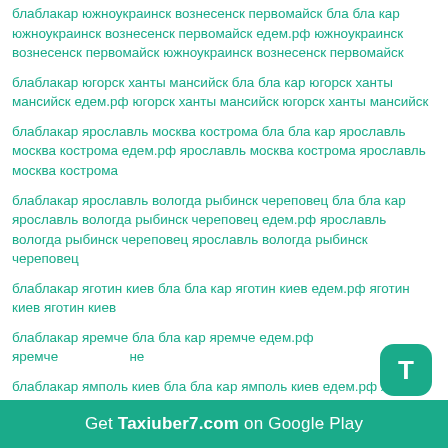блаблакар южноукраинск вознесенск первомайск бла бла кар южноукраинск вознесенск первомайск едем.рф южноукраинск вознесенск первомайск южноукраинск вознесенск первомайск
блаблакар югорск ханты мансийск бла бла кар югорск ханты мансийск едем.рф югорск ханты мансийск югорск ханты мансийск
блаблакар ярославль москва кострома бла бла кар ярославль москва кострома едем.рф ярославль москва кострома ярославль москва кострома
блаблакар ярославль вологда рыбинск череповец бла бла кар ярославль вологда рыбинск череповец едем.рф ярославль вологда рыбинск череповец ярославль вологда рыбинск череповец
блаблакар яготин киев бла бла кар яготин киев едем.рф яготин киев яготин киев
блаблакар яремче бла бла кар яремче едем.рф яремче яремче
блаблакар ямполь киев бла бла кар ямполь киев едем.рф ямполь киев ямполь киев
Get Taxiuber7.com on Google Play